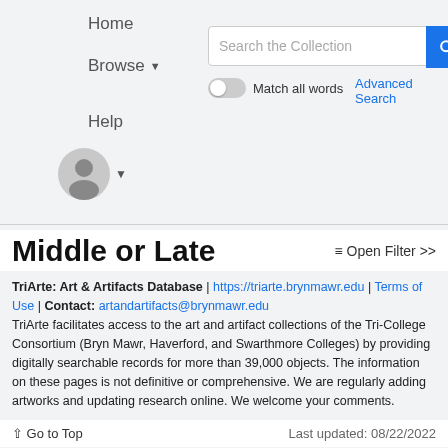Home
Browse
Help
Search the Collection | Match all words | Advanced Search
Middle or Late
≡ Open Filter >>
TriArte: Art & Artifacts Database | https://triarte.brynmawr.edu | Terms of Use | Contact: artandartifacts@brynmawr.edu
TriArte facilitates access to the art and artifact collections of the Tri-College Consortium (Bryn Mawr, Haverford, and Swarthmore Colleges) by providing digitally searchable records for more than 39,000 objects. The information on these pages is not definitive or comprehensive. We are regularly adding artworks and updating research online. We welcome your comments.
↑ Go to Top
Last updated: 08/22/2022